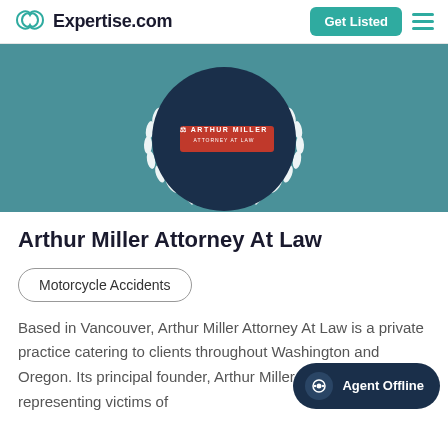Expertise.com
[Figure (logo): Arthur Miller Attorney At Law logo inside a dark navy circle with white laurel wreath on teal background]
Arthur Miller Attorney At Law
Motorcycle Accidents
Based in Vancouver, Arthur Miller Attorney At Law is a private practice catering to clients throughout Washington and Oregon. Its principal founder, Arthur Miller, has been representing victims of